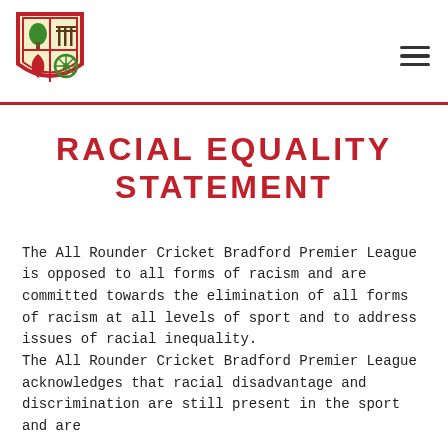[Figure (logo): Bradford Premier League crest/shield logo with four quadrants: tree, cricket stumps, leaf/flame, and wheel, with red border]
RACIAL EQUALITY STATEMENT
The All Rounder Cricket Bradford Premier League is opposed to all forms of racism and are committed towards the elimination of all forms of racism at all levels of sport and to address issues of racial inequality.
The All Rounder Cricket Bradford Premier League acknowledges that racial disadvantage and discrimination are still present in the sport and are